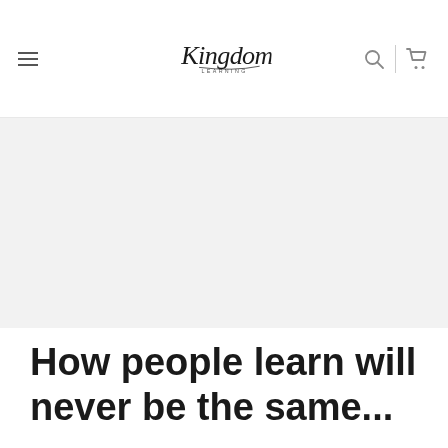Kingdom Learning — navigation header with hamburger menu, logo, search icon, and cart icon
[Figure (other): Large hero image area (light gray placeholder)]
How people learn will never be the same...